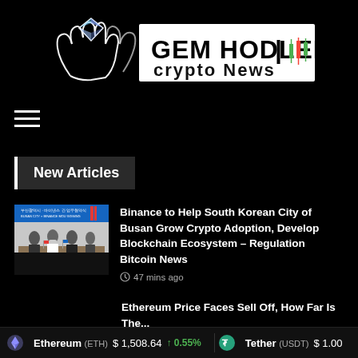[Figure (logo): GEM HODLERS Crypto News logo with diamond/hands graphic on black background]
[Figure (other): Hamburger menu icon (three horizontal white lines)]
New Articles
[Figure (photo): Photo of people at a signing ceremony with Korean text banner reading Busan City - Binance MOU]
Binance to Help South Korean City of Busan Grow Crypto Adoption, Develop Blockchain Ecosystem – Regulation Bitcoin News
47 mins ago
Ethereum Price Faces Sell Off, How Far Is The...
Ethereum (ETH) $1,508.64 ↑0.55%  Tether (USDT) $1.00